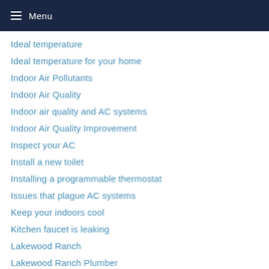Menu
Ideal temperature
Ideal temperature for your home
Indoor Air Pollutants
Indoor Air Quality
Indoor air quality and AC systems
Indoor Air Quality Improvement
Inspect your AC
Install a new toilet
Installing a programmable thermostat
Issues that plague AC systems
Keep your indoors cool
Kitchen faucet is leaking
Lakewood Ranch
Lakewood Ranch Plumber
Latest HVAC Systems
Latest toilet models
Laur...